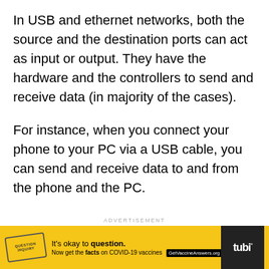In USB and ethernet networks, both the source and the destination ports can act as input or output. They have the hardware and the controllers to send and receive data (in majority of the cases).
For instance, when you connect your phone to your PC via a USB cable, you can send and receive data to and from the phone and the PC.
ADVERTISEMENT
[Figure (infographic): Yellow advertisement banner for COVID-19 vaccine information. Contains a stamp graphic, text reading 'It's okay to question. Now get the facts on COVID-19 vaccines GetVaccineAnswers.org', a close button X, and a Tubi logo on a black background on the right.]